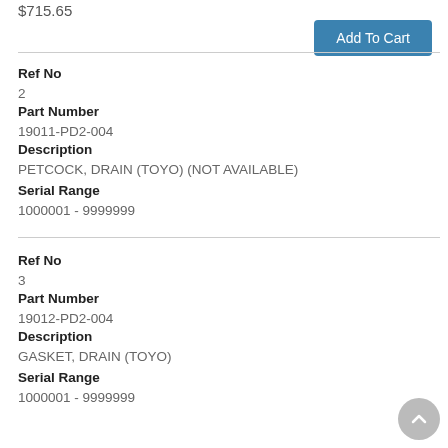$715.65
Add To Cart
Ref No
2
Part Number
19011-PD2-004
Description
PETCOCK, DRAIN (TOYO) (NOT AVAILABLE)
Serial Range
1000001 - 9999999
Ref No
3
Part Number
19012-PD2-004
Description
GASKET, DRAIN (TOYO)
Serial Range
1000001 - 9999999